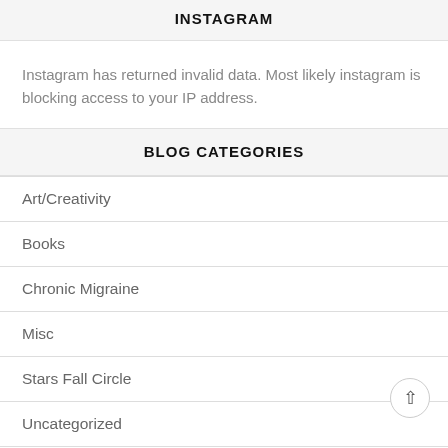INSTAGRAM
Instagram has returned invalid data. Most likely instagram is blocking access to your IP address.
BLOG CATEGORIES
Art/Creativity
Books
Chronic Migraine
Misc
Stars Fall Circle
Uncategorized